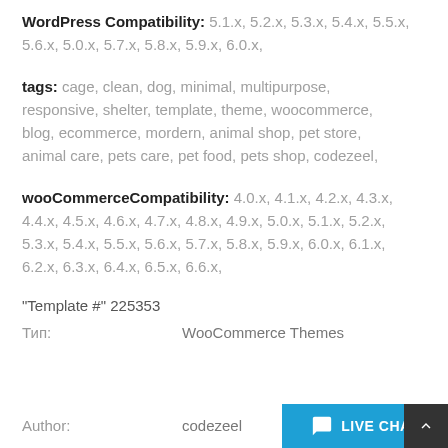WordPress Compatibility: 5.1.x, 5.2.x, 5.3.x, 5.4.x, 5.5.x, 5.6.x, 5.0.x, 5.7.x, 5.8.x, 5.9.x, 6.0.x,
tags: cage, clean, dog, minimal, multipurpose, responsive, shelter, template, theme, woocommerce, blog, ecommerce, mordern, animal shop, pet store, animal care, pets care, pet food, pets shop, codezeel,
wooCommerceCompatibility: 4.0.x, 4.1.x, 4.2.x, 4.3.x, 4.4.x, 4.5.x, 4.6.x, 4.7.x, 4.8.x, 4.9.x, 5.0.x, 5.1.x, 5.2.x, 5.3.x, 5.4.x, 5.5.x, 5.6.x, 5.7.x, 5.8.x, 5.9.x, 6.0.x, 6.1.x, 6.2.x, 6.3.x, 6.4.x, 6.5.x, 6.6.x,
"Template #" 225353
Тип:   WooCommerce Themes
Author:   codezeel